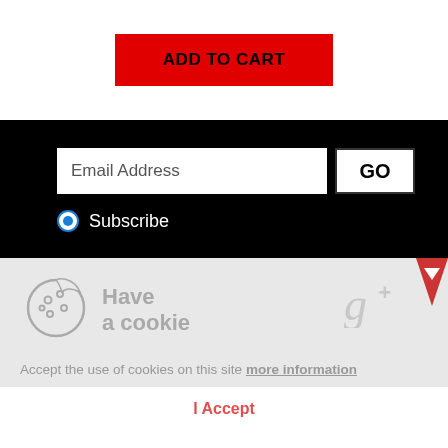ADD TO CART
Email Address
GO
Subscribe
[Figure (illustration): Cookie icon - circular cookie with bite taken out, decorative dots]
Have a cookie
Accept the use of cookies on this site more information
I Accept